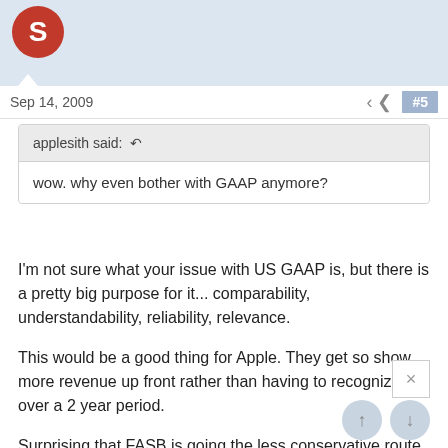[Figure (other): Red circular avatar with letter S at top left]
Sep 14, 2009
#5
applesith said: ↩
wow. why even bother with GAAP anymore?
I'm not sure what your issue with US GAAP is, but there is a pretty big purpose for it... comparability, understandability, reliability, relevance.

This would be a good thing for Apple. They get so show more revenue up front rather than having to recognize it over a 2 year period.

Surprising that FASB is going the less conservative route here but I think it does reflect Apple's operations more accurately.